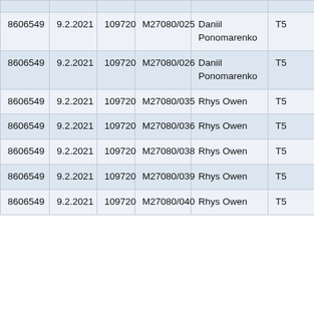| 8606549 | 9.2.2021 | 109720 | M27080/025 | Daniil Ponomarenko | T5 |
| 8606549 | 9.2.2021 | 109720 | M27080/026 | Daniil Ponomarenko | T5 |
| 8606549 | 9.2.2021 | 109720 | M27080/035 | Rhys Owen | T5 |
| 8606549 | 9.2.2021 | 109720 | M27080/036 | Rhys Owen | T5 |
| 8606549 | 9.2.2021 | 109720 | M27080/038 | Rhys Owen | T5 |
| 8606549 | 9.2.2021 | 109720 | M27080/039 | Rhys Owen | T5 |
| 8606549 | 9.2.2021 | 109720 | M27080/040 | Rhys Owen | T5 |